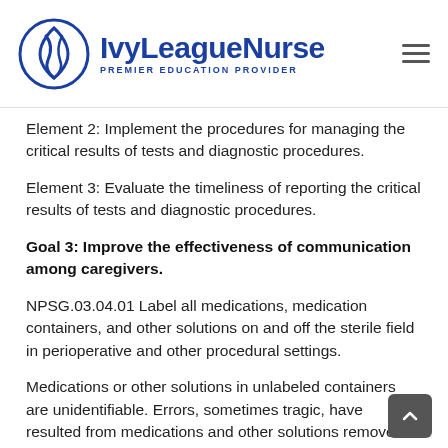IvyLeagueNurse PREMIER EDUCATION PROVIDER
Element 2: Implement the procedures for managing the critical results of tests and diagnostic procedures.
Element 3: Evaluate the timeliness of reporting the critical results of tests and diagnostic procedures.
Goal 3: Improve the effectiveness of communication among caregivers.
NPSG.03.04.01 Label all medications, medication containers, and other solutions on and off the sterile field in perioperative and other procedural settings.
Medications or other solutions in unlabeled containers are unidentifiable. Errors, sometimes tragic, have resulted from medications and other solutions removed from their original containers and placed into unlabeled containers. This confirmation about the minimum risk of a...